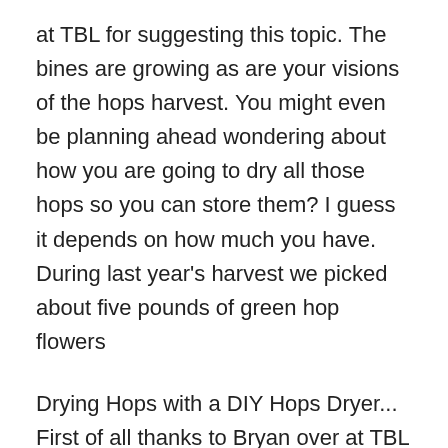at TBL for suggesting this topic. The bines are growing as are your visions of the hops harvest. You might even be planning ahead wondering about how you are going to dry all those hops so you can store them? I guess it depends on how much you have. During last year's harvest we picked about five pounds of green hop flowers
Drying Hops with a DIY Hops Dryer... First of all thanks to Bryan over at TBL for suggesting this topic. The bines are growing as are your visions of the hops harvest. You might even be planning ahead wondering about how you are going to dry all those hops so you can store them? I guess it depends on how much you have. During last year's harvest we picked about five pounds of green hop flowers 18/07/2011 · As I said, drying hops chases away some of their complexity, but how you dry them will determine the amount of aromatics lost. To dry hops commercial hop processors use a